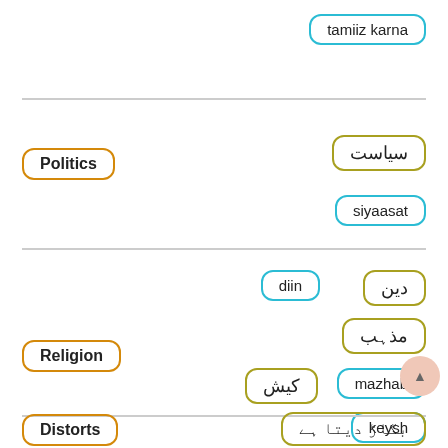[Figure (infographic): Language learning flashcard page showing English words with their Urdu script and romanized Urdu translations in color-coded pill badges. Words: tamiiz karna (top), Politics/siyaasat/سیاست, Religion/diin/مذہب/mazhab/keysh/دین/کیش, Distorts/بگاڑ دیتا ہے]
tamiiz karna
Politics
سیاست
siyaasat
diin
دین
Religion
مذہب
کیش
mazhab
keysh
Distorts
بگاڑ دیتا ہے